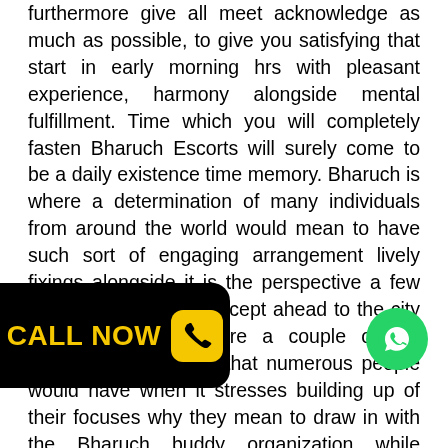furthermore give all meet acknowledge as much as possible, to give you satisfying that start in early morning hrs with pleasant experience, harmony alongside mental fulfillment. Time which you will completely fasten Bharuch Escorts will surely come to be a daily existence time memory. Bharuch is where a determination of many individuals from around the world would mean to have such sort of engaging arrangement lively fixings alongside it is the perspective a few people would totally accept ahead to the city of Bharuch. There are a couple of the admirable sentiments that numerous people would have when it stresses building up of their focuses why they mean to draw in with the Bharuch buddy organization while questing for the and top of the line c nion ich has in actuality given ant agencys is appeared for t compensating alternative t the t
[Figure (infographic): Black badge with yellow 'CALL NOW' text and yellow phone icon on black rounded rectangle background]
[Figure (infographic): WhatsApp green circle logo badge]